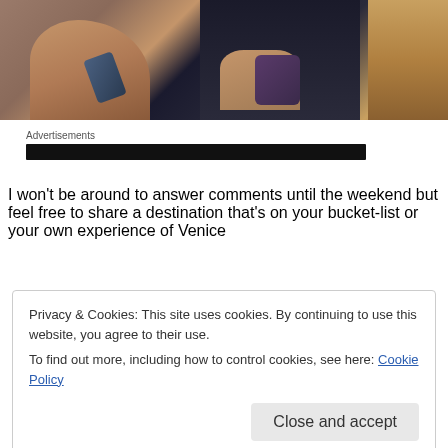[Figure (photo): Photo showing two people from the torso down: person on left in patterned fabric holding a phone, person in center wearing dark clothing holding a purple wallet/purse, wooden furniture visible on right]
Advertisements
I won't be around to answer comments until the weekend but feel free to share a destination that's on your bucket-list or your own experience of Venice
Privacy & Cookies: This site uses cookies. By continuing to use this website, you agree to their use.
To find out more, including how to control cookies, see here: Cookie Policy
[Close and accept]